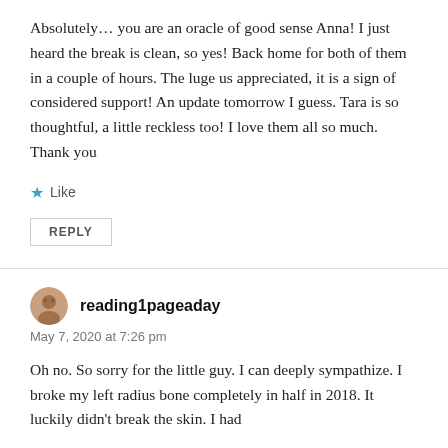Absolutely… you are an oracle of good sense Anna! I just heard the break is clean, so yes! Back home for both of them in a couple of hours. The luge us appreciated, it is a sign of considered support! An update tomorrow I guess. Tara is so thoughtful, a little reckless too! I love them all so much. Thank you
★ Like
REPLY
reading1pageaday
May 7, 2020 at 7:26 pm
Oh no. So sorry for the little guy. I can deeply sympathize. I broke my left radius bone completely in half in 2018. It luckily didn't break the skin. I had